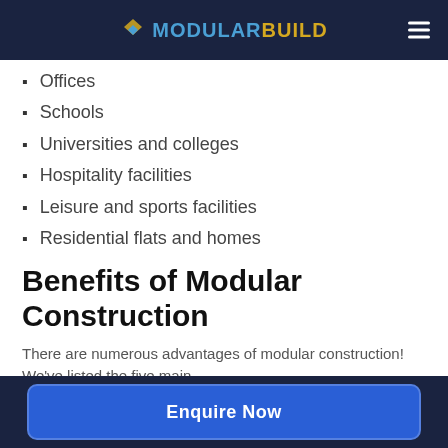MODULARBUILD
Offices
Schools
Universities and colleges
Hospitality facilities
Leisure and sports facilities
Residential flats and homes
Benefits of Modular Construction
There are numerous advantages of modular construction! We've listed the five main
Enquire Now